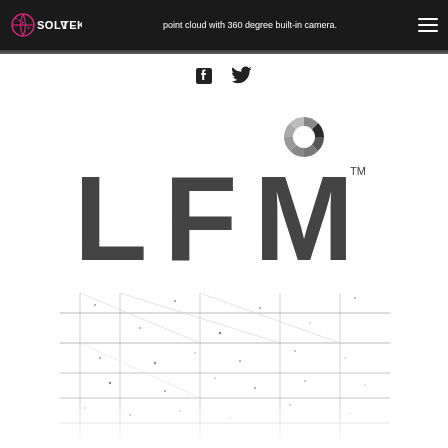point cloud with 360 degree built-in camera.
[Figure (logo): SolvTek logo - white text with pink globe icon]
[Figure (logo): LFM Software logo - dark grey letters L F M with TM mark and segmented circle icon above, with industrial point cloud background image below]